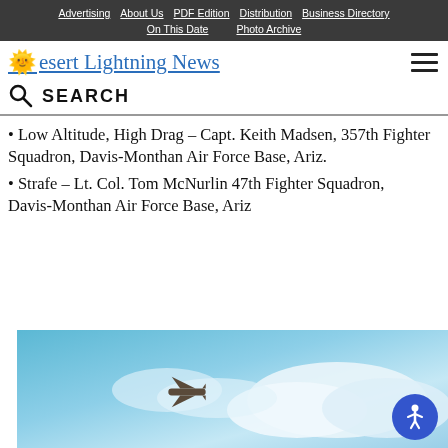Advertising | About Us | PDF Edition | Distribution | Business Directory | On This Date | Photo Archive
Desert Lightning News
SEARCH
Low Altitude, High Drag – Capt. Keith Madsen, 357th Fighter Squadron, Davis-Monthan Air Force Base, Ariz.
Strafe – Lt. Col. Tom McNurlin 47th Fighter Squadron, Davis-Monthan Air Force Base, Ariz
[Figure (photo): Sky scene with a military aircraft silhouette flying against blue sky and white clouds]